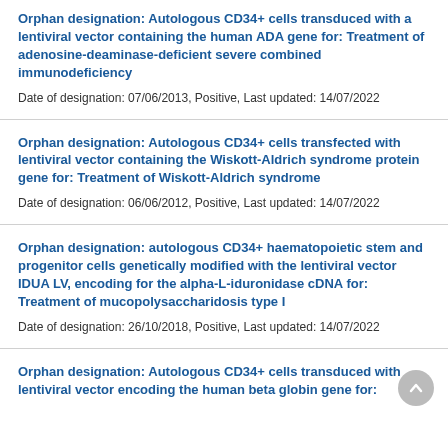Orphan designation: Autologous CD34+ cells transduced with a lentiviral vector containing the human ADA gene for: Treatment of adenosine-deaminase-deficient severe combined immunodeficiency
Date of designation: 07/06/2013, Positive, Last updated: 14/07/2022
Orphan designation: Autologous CD34+ cells transfected with lentiviral vector containing the Wiskott-Aldrich syndrome protein gene for: Treatment of Wiskott-Aldrich syndrome
Date of designation: 06/06/2012, Positive, Last updated: 14/07/2022
Orphan designation: autologous CD34+ haematopoietic stem and progenitor cells genetically modified with the lentiviral vector IDUA LV, encoding for the alpha-L-iduronidase cDNA for: Treatment of mucopolysaccharidosis type I
Date of designation: 26/10/2018, Positive, Last updated: 14/07/2022
Orphan designation: Autologous CD34+ cells transduced with lentiviral vector encoding the human beta globin gene for: